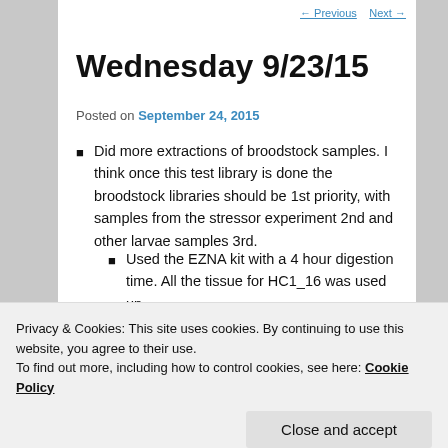Wednesday 9/23/15
Posted on September 24, 2015
Did more extractions of broodstock samples. I think once this test library is done the broodstock libraries should be 1st priority, with samples from the stressor experiment 2nd and other larvae samples 3rd.
Used the EZNA kit with a 4 hour digestion time. All the tissue for HC1_16 was used up.
Privacy & Cookies: This site uses cookies. By continuing to use this website, you agree to their use.
To find out more, including how to control cookies, see here: Cookie Policy